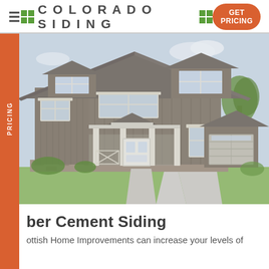COLORADO SIDING — GET PRICING
[Figure (photo): Two-story craftsman-style house with dark brown/taupe fiber cement siding, white trim, covered front porch with decorative railings, multiple gabled dormers, attached garage, and landscaped front yard with green lawn and trees.]
ber Cement Siding
ottish Home Improvements can increase your levels of